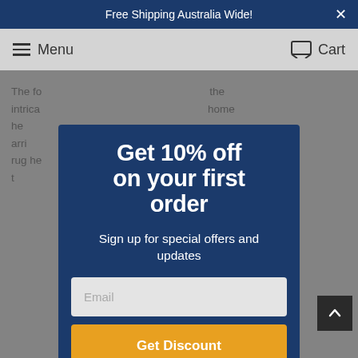Free Shipping Australia Wide!
Menu   Cart
The fo... the intrica... home... 001, he arri... busine... arrival.... gle rug he... uying a rug t... nd outs a...
Get 10% off on your first order
Sign up for special offers and updates
Email
Get Discount